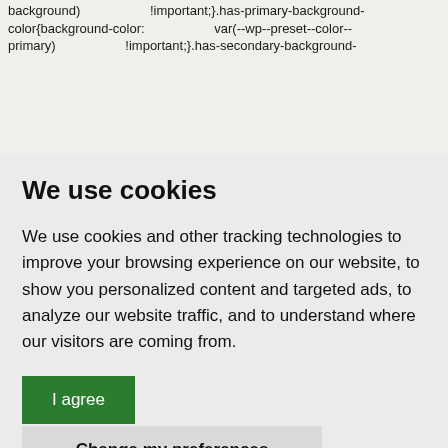background) !important;}.has-primary-background-color{background-color: var(--wp--preset--color--primary) !important;}.has-secondary-background-
We use cookies
We use cookies and other tracking technologies to improve your browsing experience on our website, to show you personalized content and targeted ads, to analyze our website traffic, and to understand where our visitors are coming from.
I agree
Change my preferences